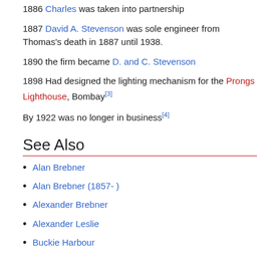1886 Charles was taken into partnership
1887 David A. Stevenson was sole engineer from Thomas's death in 1887 until 1938.
1890 the firm became D. and C. Stevenson
1898 Had designed the lighting mechanism for the Prongs Lighthouse, Bombay[3]
By 1922 was no longer in business[4]
See Also
Alan Brebner
Alan Brebner (1857- )
Alexander Brebner
Alexander Leslie
Buckie Harbour